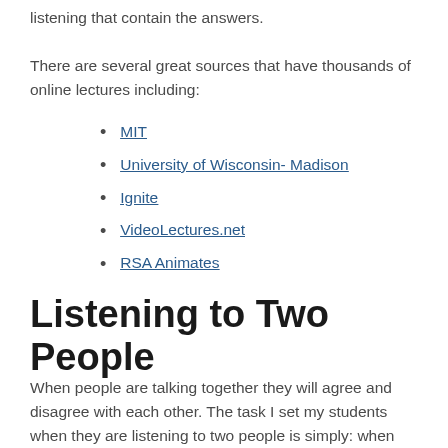listening that contain the answers.
There are several great sources that have thousands of online lectures including:
MIT
University of Wisconsin- Madison
Ignite
VideoLectures.net
RSA Animates
Listening to Two People
When people are talking together they will agree and disagree with each other. The task I set my students when they are listening to two people is simply: when